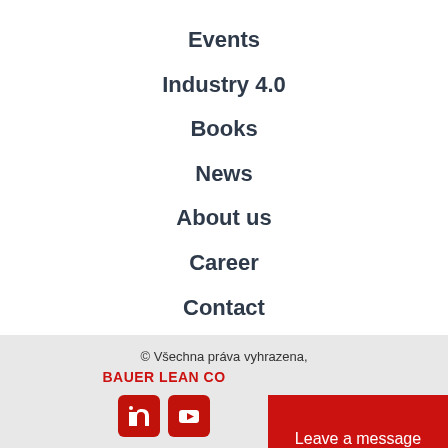Events
Industry 4.0
Books
News
About us
Career
Contact
© Všechna práva vyhrazena, BAUER LEAN CO
Leave a message